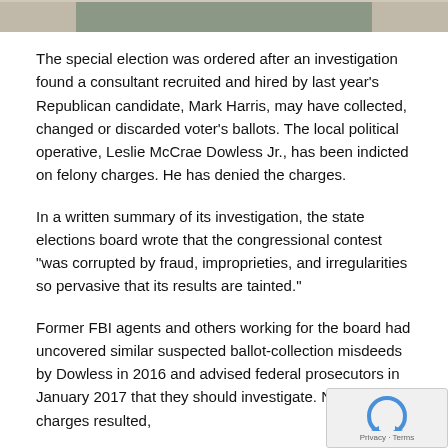[Figure (photo): Partial image strip at the top of the page, cropped photo]
The special election was ordered after an investigation found a consultant recruited and hired by last year's Republican candidate, Mark Harris, may have collected, changed or discarded voter's ballots. The local political operative, Leslie McCrae Dowless Jr., has been indicted on felony charges. He has denied the charges.
In a written summary of its investigation, the state elections board wrote that the congressional contest “was corrupted by fraud, improprieties, and irregularities so pervasive that its results are tainted.”
Former FBI agents and others working for the board had uncovered similar suspected ballot-collection misdeeds by Dowless in 2016 and advised federal prosecutors in January 2017 that they should investigate. No federal charges resulted,